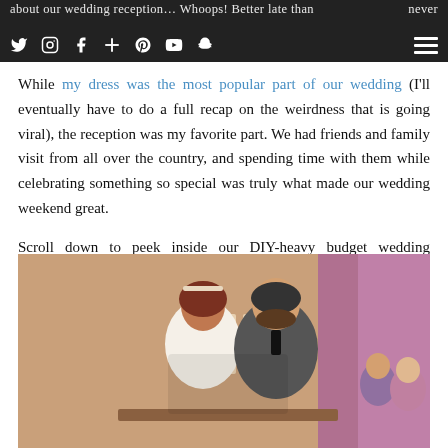about our wedding reception… Whoops! Better late than ever. [social icons: Twitter, Instagram, Facebook, Plus, Pinterest, YouTube, Snapchat] [hamburger menu]
While my dress was the most popular part of our wedding (I'll eventually have to do a full recap on the weirdness that is going viral), the reception was my favorite part. We had friends and family visit from all over the country, and spending time with them while celebrating something so special was truly what made our wedding weekend great.
Scroll down to peek inside our DIY-heavy budget wedding reception at Andre's South in St. Louis!
[Figure (photo): Bride and groom at wedding reception at Andre's South in St. Louis. The bride is wearing a white lace dress with a headpiece, and the groom is in a grey suit. They are looking down together, possibly cutting the cake. The background shows warm pink/purple uplighting in a banquet hall with guests visible on the right.]